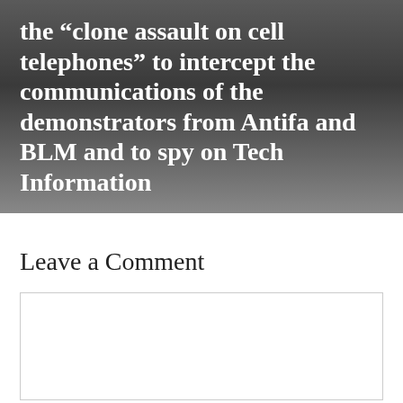[Figure (other): Dark gradient background image with white bold text reading: the “clone assault on cell telephones” to intercept the communications of the demonstrators from Antifa and BLM and to spy on Tech Information]
Leave a Comment